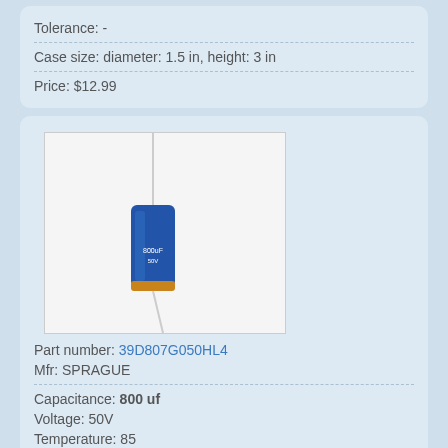Tolerance: -
Case size: diameter: 1.5 in, height: 3 in
Price: $12.99
[Figure (photo): Blue axial electrolytic capacitor on light background, with wire leads extending from both ends]
Part number: 39D807G050HL4
Mfr: SPRAGUE
Capacitance: 800 uf
Voltage: 50V
Temperature: 85
Tolerance: -10% +75%
Case size: -
Price: $5.00
$3.99 - 10 pcs
[Figure (photo): Partial view of a dark green axial capacitor on cream/yellow background, cut off at bottom of page]